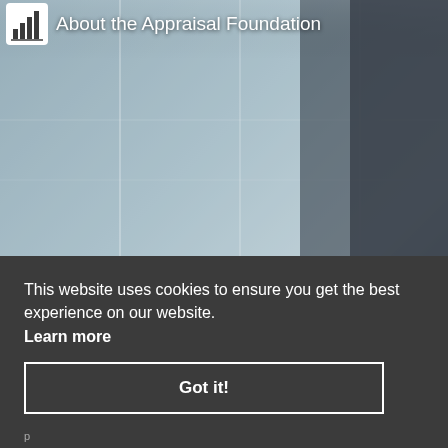[Figure (screenshot): Screenshot of Appraisal Foundation website showing a blurred office background with a person at a laptop, with a YouTube play button overlay in the lower right of the video thumbnail area.]
About the Appraisal Foundation
This website uses cookies to ensure you get the best experience on our website.
Learn more
Got it!